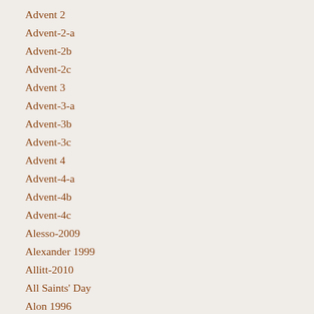Advent 2
Advent-2-a
Advent-2b
Advent-2c
Advent 3
Advent-3-a
Advent-3b
Advent-3c
Advent 4
Advent-4-a
Advent-4b
Advent-4c
Alesso-2009
Alexander 1999
Allitt-2010
All Saints' Day
Alon 1996
Amos
Anunciation